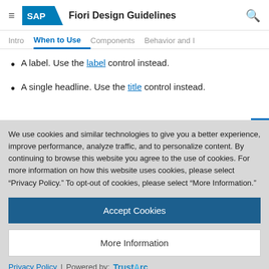SAP Fiori Design Guidelines
Intro  When to Use  Components  Behavior and
A label. Use the label control instead.
A single headline. Use the title control instead.
We use cookies and similar technologies to give you a better experience, improve performance, analyze traffic, and to personalize content. By continuing to browse this website you agree to the use of cookies. For more information on how this website uses cookies, please select “Privacy Policy.” To opt-out of cookies, please select “More Information.”
Accept Cookies
More Information
Privacy Policy | Powered by: TrustArc